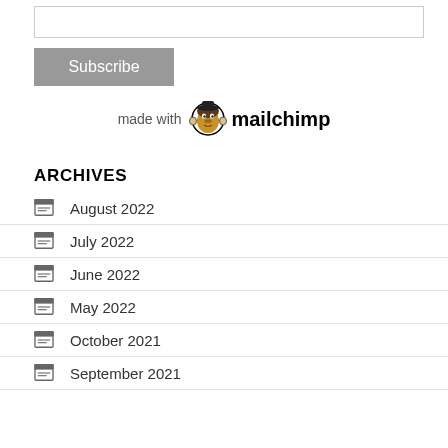[Figure (other): Empty text input box]
[Figure (other): Subscribe button (grey)]
[Figure (logo): Made with Mailchimp logo]
ARCHIVES
August 2022
July 2022
June 2022
May 2022
October 2021
September 2021